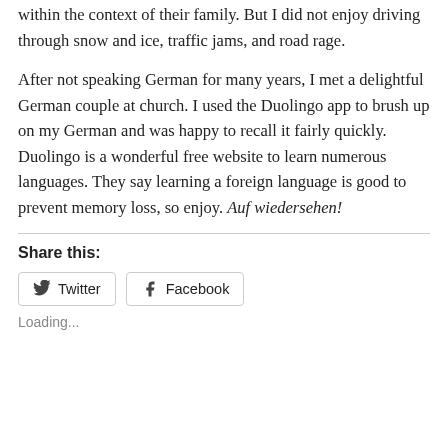within the context of their family. But I did not enjoy driving through snow and ice, traffic jams, and road rage.
After not speaking German for many years, I met a delightful German couple at church. I used the Duolingo app to brush up on my German and was happy to recall it fairly quickly. Duolingo is a wonderful free website to learn numerous languages. They say learning a foreign language is good to prevent memory loss, so enjoy. Auf wiedersehen!
Share this:
Twitter  Facebook
Loading...